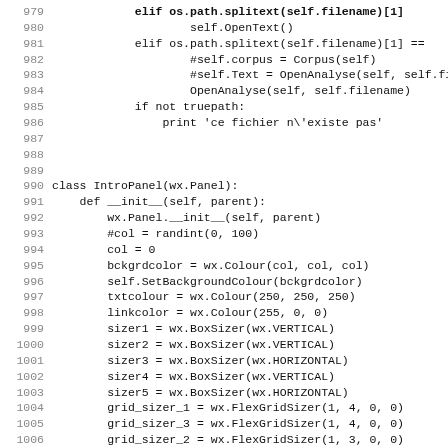[Figure (screenshot): Source code listing in Python, lines 979-1011, showing class IntroPanel definition with wx.Panel initialization and widget setup code.]